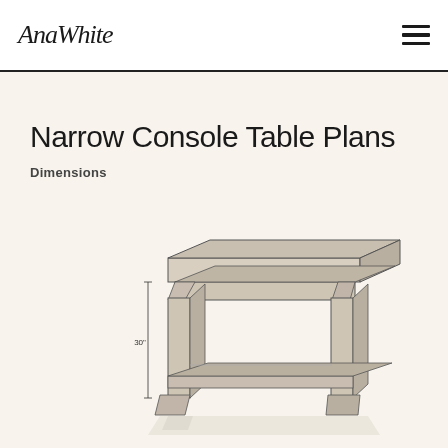AnaWhite
Narrow Console Table Plans
Dimensions
[Figure (engineering-diagram): Perspective sketch of a narrow console table with dimension annotations. Shows the table top width labeled with an arrow at the top, height labeled as 30" on the left side. The table has four legs with cross-bracing and a lower shelf. Drawn in a light pencil/sketch style with shading.]